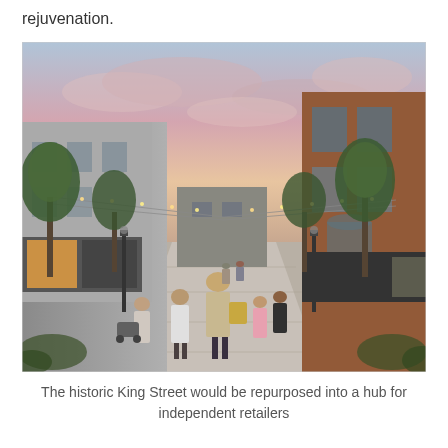rejuvenation.
[Figure (illustration): Architectural visualisation of a pedestrianised historic King Street with trees, string lights overhead, shopfronts on both sides, people walking, brick buildings in background under a pink-hued evening sky.]
The historic King Street would be repurposed into a hub for independent retailers